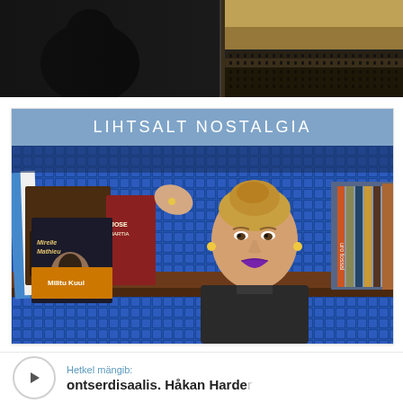[Figure (photo): Concert hall scene with conductor and orchestra, viewed from audience perspective. Dark left portion with audience silhouette, bright right portion showing orchestra on stage.]
LIHTSALT NOSTALGIA
[Figure (photo): Woman with blond updo hair and purple lipstick browsing vinyl records in a shop with blue mosaic tile background. Records visible include 'The Popular' and 'Mirelle Mathieu' among others.]
Hetkel mängib:
kontserdisaalis. Håkan Harder